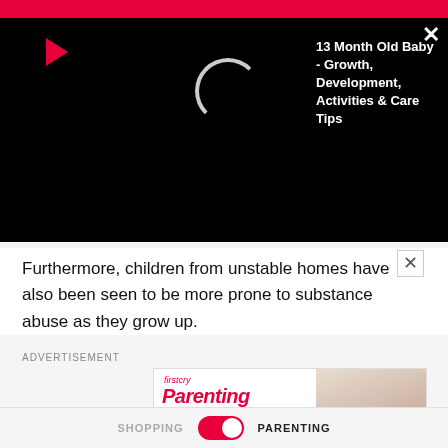[Figure (screenshot): Video overlay bar with red top strip, play button icon, loading spinner circle, video title text '13 Month Old Baby - Growth, Development, Activities & Care Tips', and close X button on black background]
Furthermore, children from unstable homes have also been seen to be more prone to substance abuse as they grow up.
ADVERTISEMENT
[Figure (screenshot): FirstCry Parenting advertisement banner with logo, list items: Read What You Need, Ask What You Feel, Share What You Adore, Discuss What You Care, Track Every Bit Of Happiness, and photo of woman with baby]
SHOPPING   PARENTING